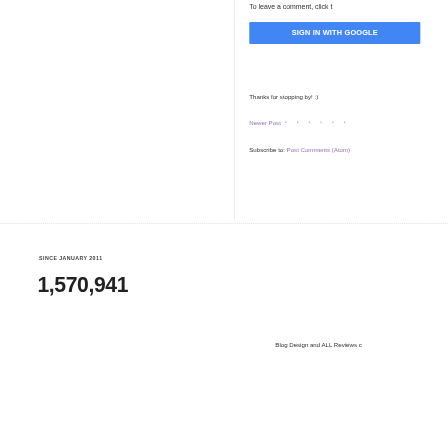To leave a comment, click t
[Figure (other): Blue 'SIGN IN WITH GOOGLE' button]
Thanks for stopping by! :)
Newer Post • • • • • •
Subscribe to: Post Comments (Atom)
SINCE JANUARY 2011
1,570,941
Blog Design and ALL Reviews c